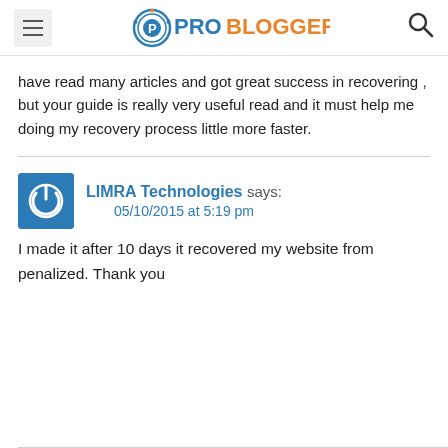ProBlogger
have read many articles and got great success in recovering , but your guide is really very useful read and it must help me doing my recovery process little more faster.
LIMRA Technologies says: 05/10/2015 at 5:19 pm
I made it after 10 days it recovered my website from penalized. Thank you